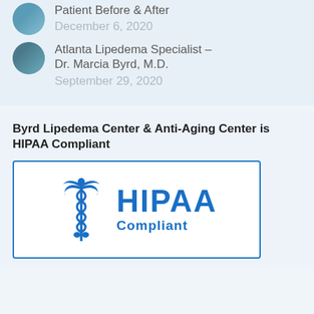Patient Before & After
December 6, 2020
Atlanta Lipedema Specialist – Dr. Marcia Byrd, M.D.
September 29, 2020
Byrd Lipedema Center & Anti-Aging Center is HIPAA Compliant
[Figure (logo): HIPAA Compliant badge with caduceus symbol in blue, inside a blue-bordered white rectangle]